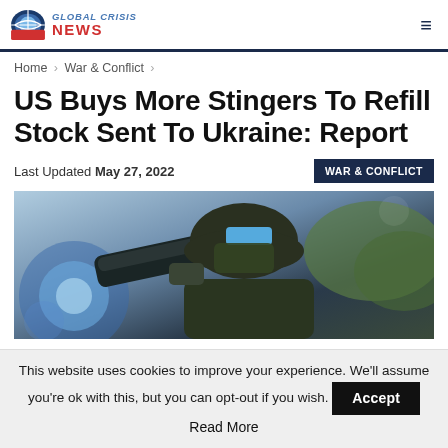GLOBAL CRISIS NEWS
Home > War & Conflict >
US Buys More Stingers To Refill Stock Sent To Ukraine: Report
Last Updated May 27, 2022
WAR & CONFLICT
[Figure (photo): Soldier with Stinger missile launcher on shoulder, wearing helmet with blue visor element]
This website uses cookies to improve your experience. We'll assume you're ok with this, but you can opt-out if you wish. Accept
Read More